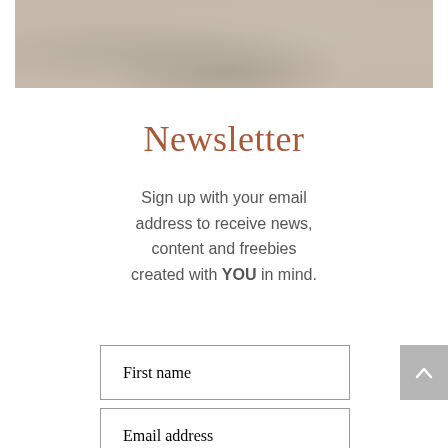[Figure (photo): Blurred neutral-toned background image in beige and taupe tones at the top of the page]
Newsletter
Sign up with your email address to receive news, content and freebies created with YOU in mind.
First name
Email address